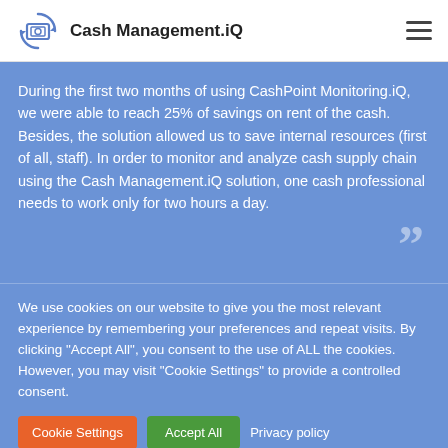Cash Management.iQ
During the first two months of using CashPoint Monitoring.iQ, we were able to reach 25% of savings on rent of the cash. Besides, the solution allowed us to save internal resources (first of all, staff). In order to monitor and analyze cash supply chain using the Cash Management.iQ solution, one cash professional needs to work only for two hours a day.
We use cookies on our website to give you the most relevant experience by remembering your preferences and repeat visits. By clicking "Accept All", you consent to the use of ALL the cookies. However, you may visit "Cookie Settings" to provide a controlled consent.
Cookie Settings | Accept All | Privacy policy